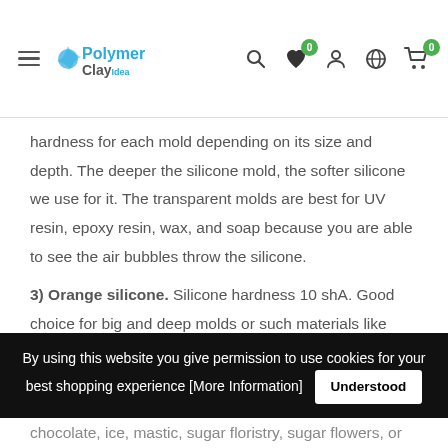Polymer Clay Idea — website header with logo and navigation icons
hardness for each mold depending on its size and depth. The deeper the silicone mold, the softer silicone we use for it. The transparent molds are best for UV resin, epoxy resin, wax, and soap because you are able to see the air bubbles throw the silicone.
3) Orange silicone. Silicone hardness 10 shA. Good choice for big and deep molds or such materials like marshmallow air dry clay.
4) Red (terracotta) silicone. Silicone hardness 32 shA. Hard silicone. Recommended for not deep forms. Most recommended for food. This food-grade silicone
By using this website you give permission to use cookies for your best shopping experience [More Information]
chocolate, ice, mastic, sugar floristry, sugar flowers, or